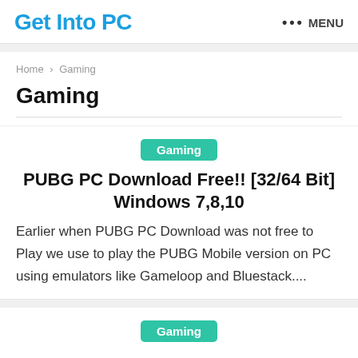Get Into PC   ••• MENU
Home > Gaming
Gaming
Gaming
PUBG PC Download Free!! [32/64 Bit] Windows 7,8,10
Earlier when PUBG PC Download was not free to Play we use to play the PUBG Mobile version on PC using emulators like Gameloop and Bluestack....
Gaming